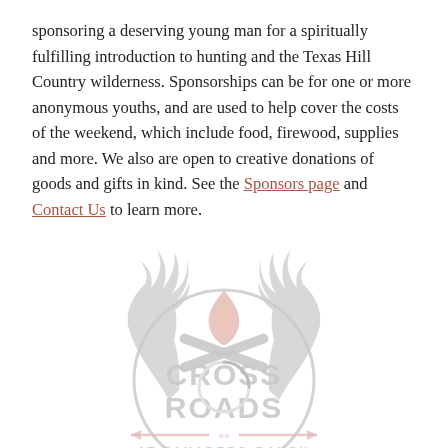sponsoring a deserving young man for a spiritually fulfilling introduction to hunting and the Texas Hill Country wilderness. Sponsorships can be for one or more anonymous youths, and are used to help cover the costs of the weekend, which include food, firewood, supplies and more. We also are open to creative donations of goods and gifts in kind. See the Sponsors page and Contact Us to learn more.
[Figure (logo): Cross Roads at Panadero Ranch logo — antlers, campfire, crossed logs, arrows, and text reading CROSS ROADS AT PANADERO RANCH in distressed gray lettering with salmon/rust accents]